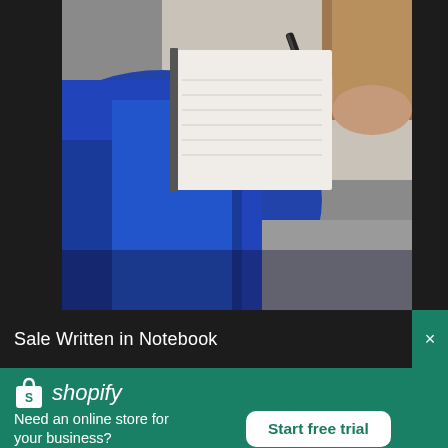[Figure (photo): Close-up photo of a person's hand writing in a notebook, wearing a blue garment, with a pen, brown wooden surface visible in the background.]
Sale Written in Notebook
[Figure (logo): Shopify logo: white shopping bag icon with 'S' and italic white text 'shopify']
Need an online store for your business?
Start free trial